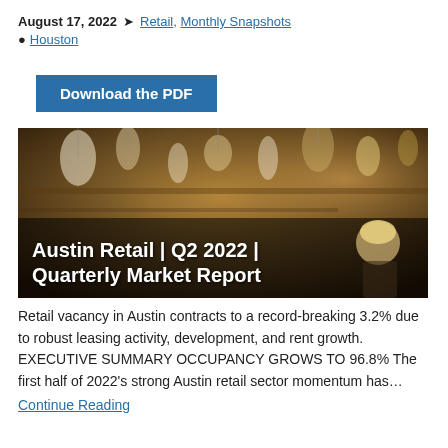August 17, 2022  Retail, Monthly Snapshots  Houston
Download the PDF
[Figure (photo): Retail store interior with merchandise hanging from the ceiling and a woman with blonde hair visible, overlaid with white bold text reading 'Austin Retail | Q2 2022 | Quarterly Market Report']
Retail vacancy in Austin contracts to a record-breaking 3.2% due to robust leasing activity, development, and rent growth.  EXECUTIVE SUMMARY OCCUPANCY GROWS TO 96.8% The first half of 2022's strong Austin retail sector momentum has…
Continue Reading